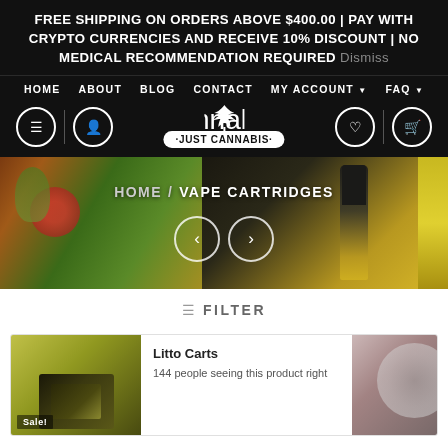FREE SHIPPING ON ORDERS ABOVE $400.00 | PAY WITH CRYPTO CURRENCIES AND RECEIVE 10% DISCOUNT | NO MEDICAL RECOMMENDATION REQUIRED Dismiss
HOME
ABOUT
BLOG
CONTACT
MY ACCOUNT
FAQ
[Figure (logo): Just Cannabis logo with cannabis leaf above badge text]
[Figure (photo): Hero banner showing cannabis lifestyle products - vape cartridges, fruit, dark background]
HOME / VAPE CARTRIDGES
≡ FILTER
Litto Carts
144 people seeing this product right